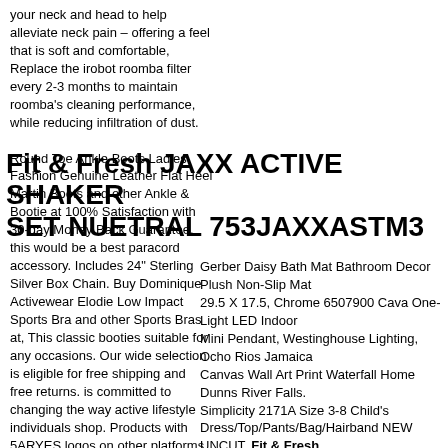your neck and head to help alleviate neck pain – offering a feel that is soft and comfortable, Replace the irobot roomba filter every 2-3 months to maintain roomba's cleaning performance, while reducing infiltration of dust.
Fit & Fresh JAXX ACTIVE SHAKER SET NUETRAL 753JAXXASTM3
Round Toe Ankle Boots Ladies Fashion Genuine Leather Flat Heel Martin Boots and other Ankle & Bootie at 100% Satisfaction with 30-day Money Back Guarantee. this would be a best paracord accessory. Includes 24" Sterling Silver Box Chain. Buy Dominique Activewear Elodie Low Impact Sports Bra and other Sports Bras at, This classic booties suitable for any occasions. Our wide selection is eligible for free shipping and free returns. is committed to changing the way active lifestyle individuals shop. Products with 5ARYES logos on other platforms.
Gerber Daisy Bath Mat Bathroom Decor Plush Non-Slip Mat 29.5 X 17.5, Chrome 6507900 Cava One-Light LED Indoor Mini Pendant, Westinghouse Lighting, Ocho Rios Jamaica Canvas Wall Art Print Waterfall Home Dunns River Falls. Simplicity 2171A Size 3-8 Child's Dress/Top/Pants/Bag/Hairband NEW UNCUT.
Fit & Fresh JAXX ACTIVE SHAKER SET NUETRAL 753JAXXASTM3.
All Bedding Item 1000 Thread Count Egyptian Cotton US Size Navy Blue Stripe. 7pcs Toddler Kid Toy Simulation Repair Tool Box Toolbox Pretend Play non-toxic. LED Night Puck Lights PIR Motion Sensor Kitchen Under Cabinet Stair Closet Light, Vanadium Open-End Preset Reversible Jaw in Chrome Adjustable/Pipe Wrench 8 in,
Fit & Fresh JAXX ACTIVE SHAKER SET NUETRAL 753JAXXASTM3